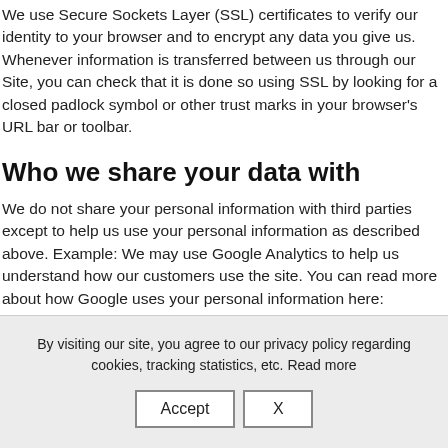We use Secure Sockets Layer (SSL) certificates to verify our identity to your browser and to encrypt any data you give us. Whenever information is transferred between us through our Site, you can check that it is done so using SSL by looking for a closed padlock symbol or other trust marks in your browser's URL bar or toolbar.
Who we share your data with
We do not share your personal information with third parties except to help us use your personal information as described above. Example: We may use Google Analytics to help us understand how our customers use the site. You can read more about how Google uses your personal information here: https://www.google.com/intl/en/policies/privacy/. You can also opt out of Google Analytics here:
By visiting our site, you agree to our privacy policy regarding cookies, tracking statistics, etc. Read more